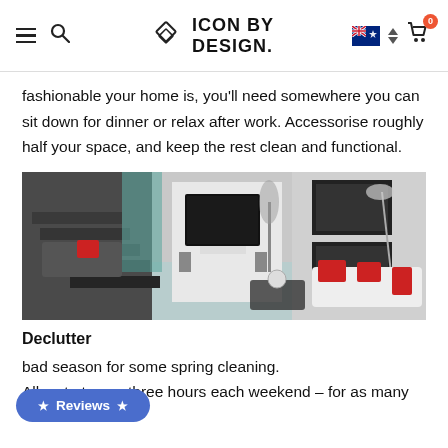Icon By Design — Navigation bar with hamburger menu, search, logo, flag, and cart
fashionable your home is, you'll need somewhere you can sit down for dinner or relax after work. Accessorise roughly half your space, and keep the rest clean and functional.
[Figure (photo): Modern living room interior with dark flooring, large TV on white wall unit, red accent cushions on white sofa, black and white wall art, and a glass partition]
Declutter
bad season for some spring cleaning. Allocate two or three hours each weekend – for as many